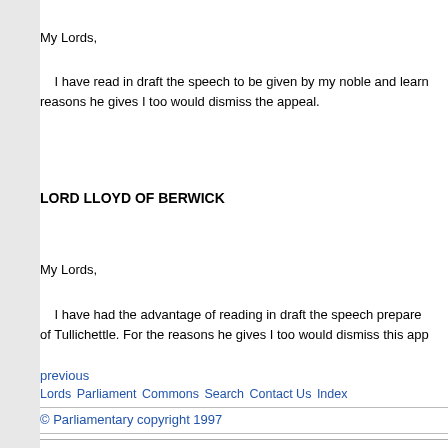My Lords,
I have read in draft the speech to be given by my noble and learned reasons he gives I too would dismiss the appeal.
LORD LLOYD OF BERWICK
My Lords,
I have had the advantage of reading in draft the speech prepared of Tullichettle. For the reasons he gives I too would dismiss this app
previous
Lords Parliament Commons Search Contact Us Index
© Parliamentary copyright 1997
A-Z index | Glossary | Contact us | Freedom of Information | Jobs | Using this we